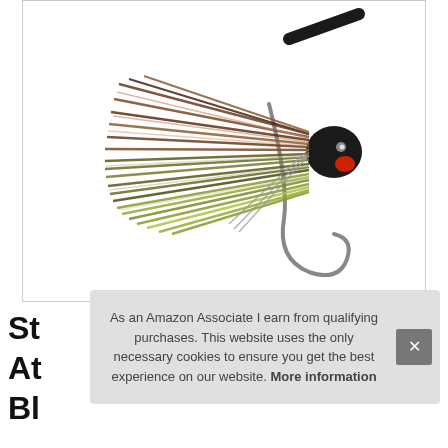[Figure (photo): A fishing jig lure with brown/olive silicone skirt strands and a black hook, photographed on white background.]
St... At... Bl...
As an Amazon Associate I earn from qualifying purchases. This website uses the only necessary cookies to ensure you get the best experience on our website. More information